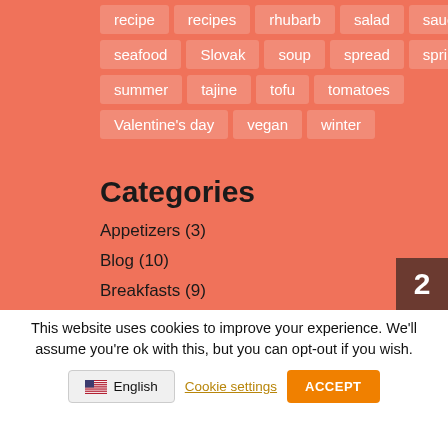recipe
recipes
rhubarb
salad
sauce
seafood
Slovak
soup
spread
spring
summer
tajine
tofu
tomatoes
Valentine's day
vegan
winter
Categories
Appetizers (3)
Blog (10)
Breakfasts (9)
Cooking academy (3)
This website uses cookies to improve your experience. We'll assume you're ok with this, but you can opt-out if you wish.
English
Cookie settings
ACCEPT